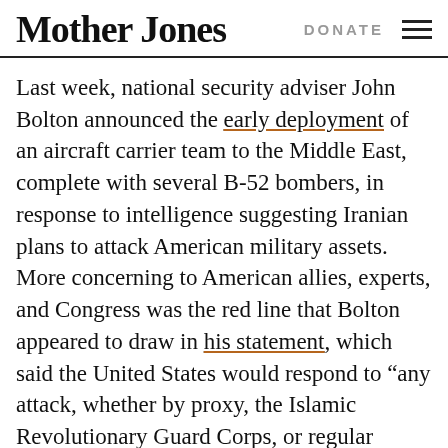Mother Jones | DONATE
Last week, national security adviser John Bolton announced the early deployment of an aircraft carrier team to the Middle East, complete with several B-52 bombers, in response to intelligence suggesting Iranian plans to attack American military assets. More concerning to American allies, experts, and Congress was the red line that Bolton appeared to draw in his statement, which said the United States would respond to “any attack, whether by proxy, the Islamic Revolutionary Guard Corps, or regular Iranian forces.” Bombastic threats and boasts have been a regular feature of the United States’ relationship with Iran for decades, but the more explicit nature of Bolton’s warning—after a